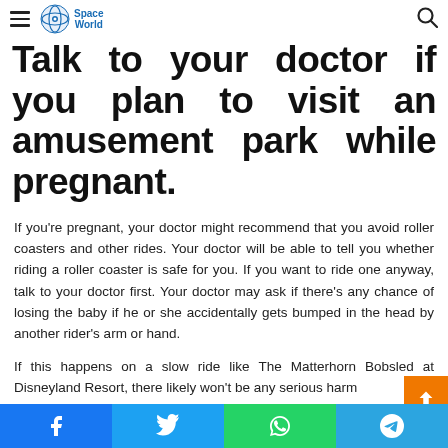Space World
Talk to your doctor if you plan to visit an amusement park while pregnant.
If you're pregnant, your doctor might recommend that you avoid roller coasters and other rides. Your doctor will be able to tell you whether riding a roller coaster is safe for you. If you want to ride one anyway, talk to your doctor first. Your doctor may ask if there's any chance of losing the baby if he or she accidentally gets bumped in the head by another rider's arm or hand.
If this happens on a slow ride like The Matterhorn Bobsled at Disneyland Resort, there likely won't be any serious harm
Facebook Twitter WhatsApp Telegram